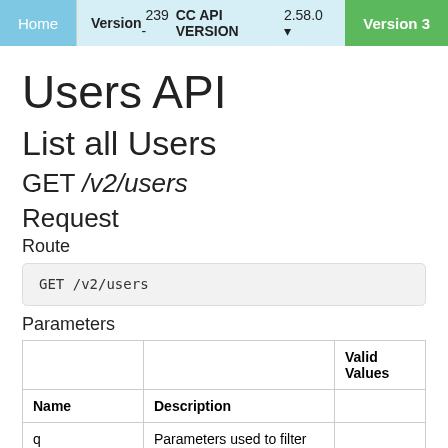Home | Version 239 - CC API VERSION 2.58.0 | Version 3
Users API
List all Users
GET /v2/users
Request
Route
GET /v2/users
Parameters
| Name | Description | Valid Values |
| --- | --- | --- |
| q | Parameters used to filter the result |  |